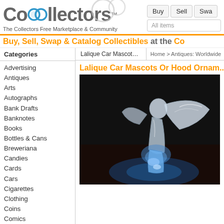[Figure (logo): Collectors website logo with interlocking circles forming 'Co' followed by 'llectors' in gray, with TM mark and bubble rings above]
The Collectors Free Marketplace & Community
Buy   Sell   Swa...
All items
Buy, Sell, Swap & Catalog Collectibles at the Co...
Categories
Lalique Car Mascots ...
Home > Antiques: Worldwide
Lalique Car Mascots Or Hood Ornam...
Advertising
Antiques
Arts
Autographs
Bank Drafts
Banknotes
Books
Bottles & Cans
Breweriana
Candies
Cards
Cars
Cigarettes
Clothing
Coins
Comics
[Figure (photo): A frosted glass Lalique car mascot figurine illuminated with blue light against a dark background, depicting a female figure with wings outstretched]